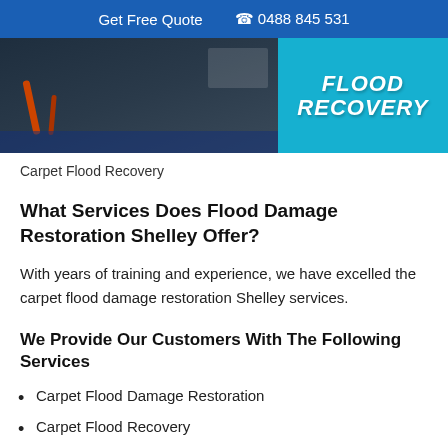Get Free Quote  0488 845 531
[Figure (photo): Hero image showing flood/water damage restoration work on left with dark indoor scene, and cyan blue panel on right with 'FLOOD RECOVERY' text in bold white italic]
Carpet Flood Recovery
What Services Does Flood Damage Restoration Shelley Offer?
With years of training and experience, we have excelled the carpet flood damage restoration Shelley services.
We Provide Our Customers With The Following Services
Carpet Flood Damage Restoration
Carpet Flood Recovery
Carpet Water Extraction